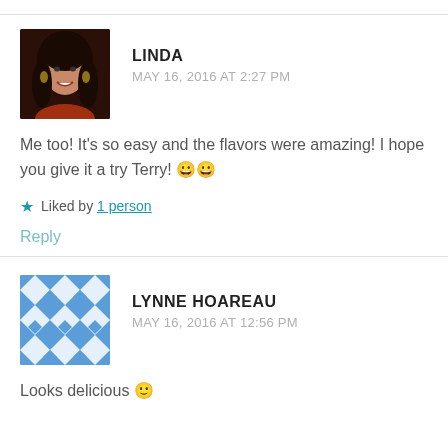LINDA
MAY 16, 2016 AT 2:27 PM
Me too! It's so easy and the flavors were amazing! I hope you give it a try Terry! 😀😀
★ Liked by 1 person
Reply
LYNNE HOAREAU
MAY 16, 2016 AT 12:56 PM
Looks delicious 🙂